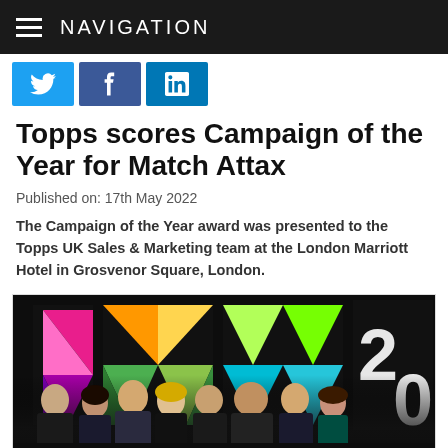NAVIGATION
[Figure (other): Social media icons: Twitter (blue bird), Facebook (blue f), LinkedIn (blue in)]
Topps scores Campaign of the Year for Match Attax
Published on: 17th May 2022
The Campaign of the Year award was presented to the Topps UK Sales & Marketing team at the London Marriott Hotel in Grosvenor Square, London.
[Figure (photo): Group photo of the Topps UK Sales & Marketing team at the NMA awards ceremony 2022, standing in front of a colourful NMA logo backdrop with geometric triangle pattern in pink, green, yellow and teal colours. The text '2022' is visible on the right side.]